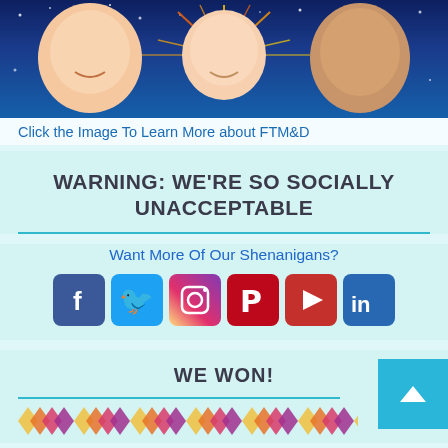[Figure (photo): Family photo with two adults and a baby, on a dark blue starry background with colorful rays around the baby]
Click the Image To Learn More about FTM&D
WARNING: WE'RE SO SOCIALLY UNACCEPTABLE
[Figure (infographic): Social media icons: Facebook, Twitter, Instagram, Pinterest, YouTube, LinkedIn]
Want More Of Our Shenanigans?
WE WON!